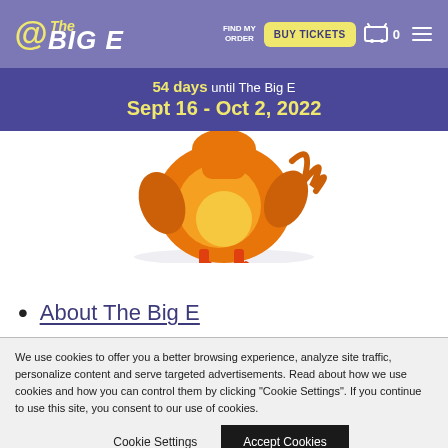@The BIG E — FIND MY ORDER | BUY TICKETS | Cart 0 | Menu
54 days until The Big E
Sept 16 - Oct 2, 2022
[Figure (illustration): Cartoon orange chicken/chick illustration, bottom portion visible, standing with feet and claws shown]
About The Big E
We use cookies to offer you a better browsing experience, analyze site traffic, personalize content and serve targeted advertisements. Read about how we use cookies and how you can control them by clicking "Cookie Settings". If you continue to use this site, you consent to our use of cookies.
Cookie Settings | Accept Cookies